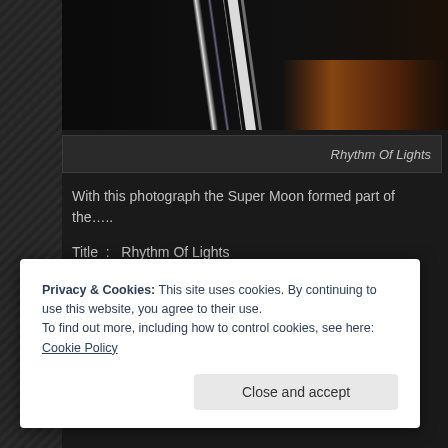[Figure (photo): Screenshot of a photography website showing a photo panel with light streaks (Rhythm Of Lights) on a dark background]
Rhythm Of Lights
With this photograph the Super Moon formed part of the…..
Title  :  Rhythm Of Lights
Copyright Burgess 2016 (c) All rights reserved.
Privacy & Cookies: This site uses cookies. By continuing to use this website, you agree to their use.
To find out more, including how to control cookies, see here: Cookie Policy
Close and accept